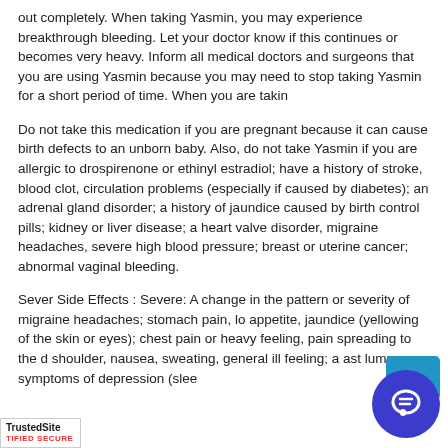out completely. When taking Yasmin, you may experience breakthrough bleeding. Let your doctor know if this continues or becomes very heavy. Inform all medical doctors and surgeons that you are using Yasmin because you may need to stop taking Yasmin for a short period of time. When you are takin
Do not take this medication if you are pregnant because it can cause birth defects to an unborn baby. Also, do not take Yasmin if you are allergic to drospirenone or ethinyl estradiol; have a history of stroke, blood clot, circulation problems (especially if caused by diabetes); an adrenal gland disorder; a history of jaundice caused by birth control pills; kidney or liver disease; a heart valve disorder, migraine headaches, severe high blood pressure; breast or uterine cancer; abnormal vaginal bleeding.
Sever Side Effects : Severe: A change in the pattern or severity of migraine headaches; stomach pain, lo appetite, jaundice (yellowing of the skin or eyes); chest pain or heavy feeling, pain spreading to the shoulder, nausea, sweating, general ill feeling; a ast lump; symptoms of depression (slee